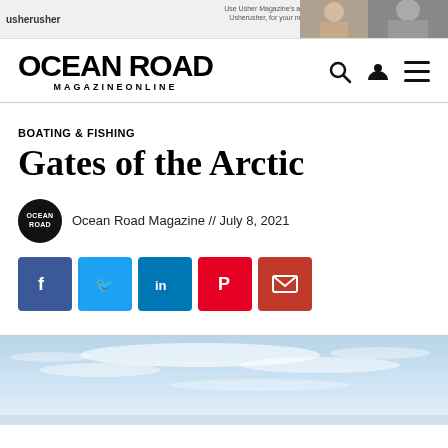[Figure (other): Advertisement banner with 'usherusher' logo and photos on the right side]
OCEAN ROAD MAGAZINEONLINE
BOATING & FISHING
Gates of the Arctic
Ocean Road Magazine // July 8, 2021
[Figure (other): Social share buttons: Facebook, Twitter, LinkedIn, Pinterest, Email]
[Figure (photo): Hero photo showing sky with light clouds over a landscape]